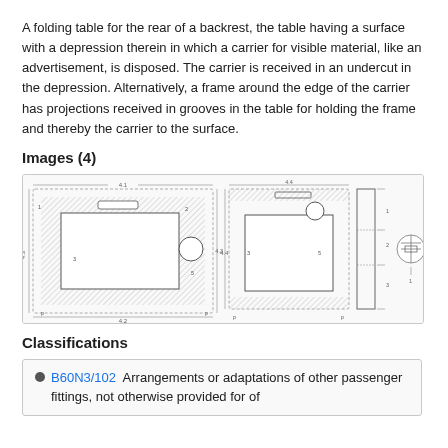A folding table for the rear of a backrest, the table having a surface with a depression therein in which a carrier for visible material, like an advertisement, is disposed. The carrier is received in an undercut in the depression. Alternatively, a frame around the edge of the carrier has projections received in grooves in the table for holding the frame and thereby the carrier to the surface.
Images (4)
[Figure (engineering-diagram): Four engineering/patent drawings of a folding tray table with a recessed carrier. Views include top/plan view with hatching showing depression and circular element, front view, side profile view, and a small cross-section detail.]
Classifications
B60N3/102  Arrangements or adaptations of other passenger fittings, not otherwise provided for of